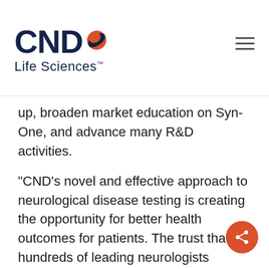CND Life Sciences
up, broaden market education on Syn-One, and advance many R&D activities.
“CND’s novel and effective approach to neurological disease testing is creating the opportunity for better health outcomes for patients. The trust that hundreds of leading neurologists nationally have put in the Syn-One Test is highly encouraging for the advancement of patient care and drug development,” said Richard Goozh, Managing Director of Cambrian Capital